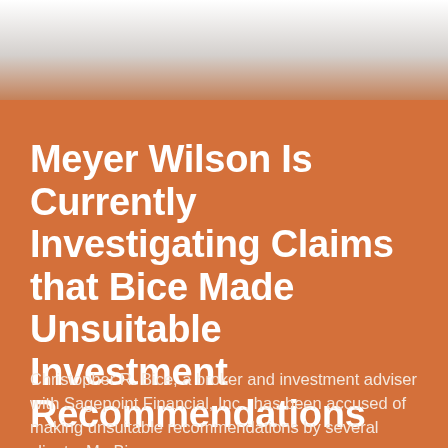Meyer Wilson Is Currently Investigating Claims that Bice Made Unsuitable Investment Recommendations
Christopher R. Bice, a broker and investment adviser with Sagepoint Financial, Inc., has been accused of making unsuitable recommendations by several clients. Mr. Bice